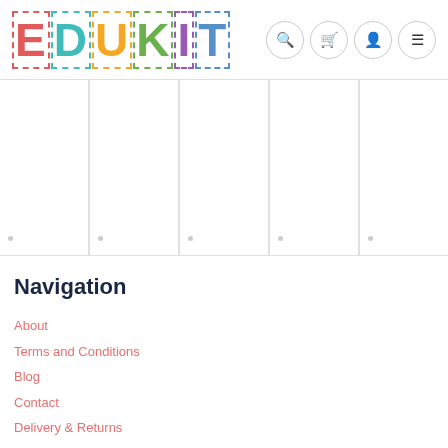[Figure (logo): EDUKIT colorful logo with dashed borders on each letter]
[Figure (screenshot): Navigation icon buttons: search, cart, account, menu]
[Figure (screenshot): Middle section with product thumbnail placeholders and vertical dividers]
Navigation
About
Terms and Conditions
Blog
Contact
Delivery & Returns
Privacy & Cookie Policy
Terms of service
Refund policy
Site...